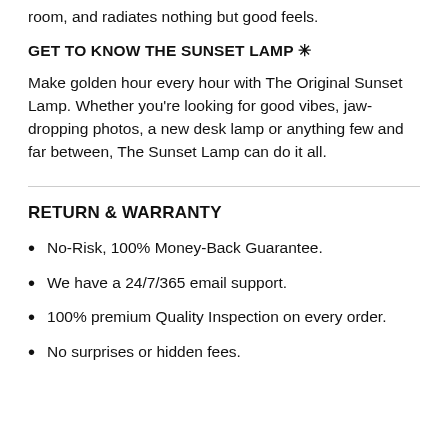room, and radiates nothing but good feels.
GET TO KNOW THE SUNSET LAMP ✳
Make golden hour every hour with The Original Sunset Lamp. Whether you're looking for good vibes, jaw-dropping photos, a new desk lamp or anything few and far between, The Sunset Lamp can do it all.
RETURN & WARRANTY
No-Risk, 100% Money-Back Guarantee.
We have a 24/7/365 email support.
100% premium Quality Inspection on every order.
No surprises or hidden fees.